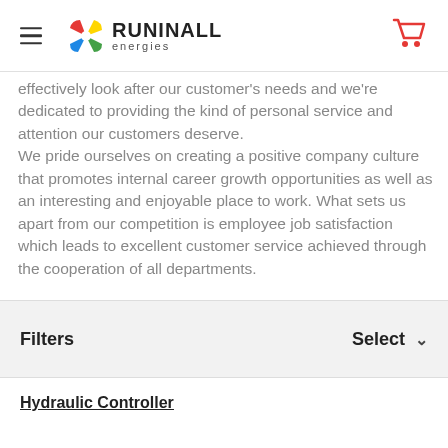RUNINALL energies
effectively look after our customer's needs and we're dedicated to providing the kind of personal service and attention our customers deserve. We pride ourselves on creating a positive company culture that promotes internal career growth opportunities as well as an interesting and enjoyable place to work. What sets us apart from our competition is employee job satisfaction which leads to excellent customer service achieved through the cooperation of all departments.
Filters   Select
Hydraulic Controller